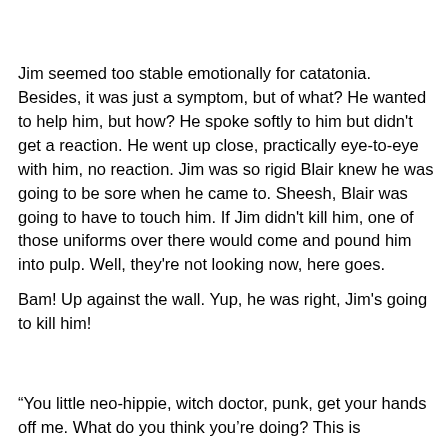Jim seemed too stable emotionally for catatonia. Besides, it was just a symptom, but of what? He wanted to help him, but how? He spoke softly to him but didn't get a reaction. He went up close, practically eye-to-eye with him, no reaction. Jim was so rigid Blair knew he was going to be sore when he came to. Sheesh, Blair was going to have to touch him. If Jim didn't kill him, one of those uniforms over there would come and pound him into pulp. Well, they're not looking now, here goes.
Bam! Up against the wall. Yup, he was right, Jim's going to kill him!
“You little neo-hippie, witch doctor, punk, get your hands off me. What do you think you're doing? This is